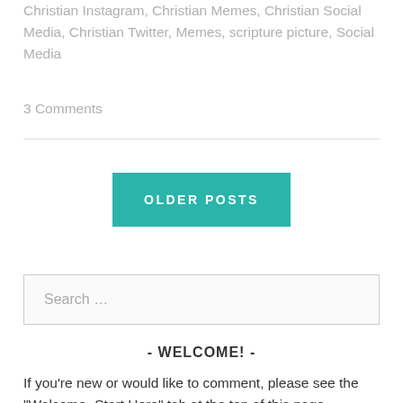Christian Instagram, Christian Memes, Christian Social Media, Christian Twitter, Memes, scripture picture, Social Media
3 Comments
OLDER POSTS
Search …
- WELCOME! -
If you're new or would like to comment, please see the "Welcome- Start Here" tab at the top of this page.